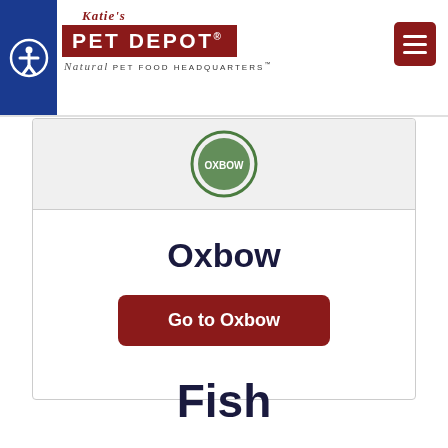[Figure (logo): Katie's Pet Depot logo with accessibility button and hamburger menu]
[Figure (logo): Oxbow brand circular logo (partially visible green circle)]
Oxbow
Go to Oxbow
Fish